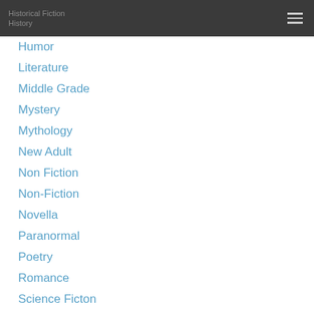Historical Fiction
History
Humor
Literature
Middle Grade
Mystery
Mythology
New Adult
Non Fiction
Non-Fiction
Novella
Paranormal
Poetry
Romance
Science Ficton
Short Stories
Steampunk
Thriller
True Crime